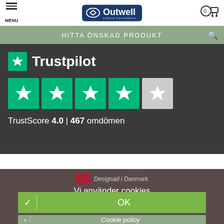MENU | Outwell logo | Cart icon
HITTA ÖNSKAD PRODUKT
[Figure (screenshot): Trustpilot widget showing 4.0 TrustScore with 4 green stars and 1 gray star, and text 'TrustScore 4.0 | 467 omdömen']
Designad i Danmark
Vi använder cookies
✓ | OK
> | Cookie policy